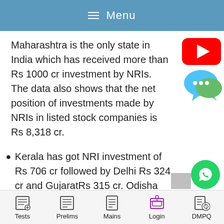Menu
Maharashtra is the only state in India which has received more than Rs 1000 cr investment by NRIs. The data also shows that the net position of investments made by NRIs in listed stock companies is Rs 8,318 cr.
[Figure (logo): YouTube play button logo (red rectangle with white triangle)]
[Figure (illustration): Blue/green chat bubble icon with three dots]
Kerala has got NRI investment of Rs 706 cr followed by Delhi Rs 324 cr and GujaratRs 315 cr. Odisha and MP are among the states which have not received even 1% of th...
[Figure (logo): WhatsApp green circle icon]
Tests  Prelims  Mains  Login  DMPQ